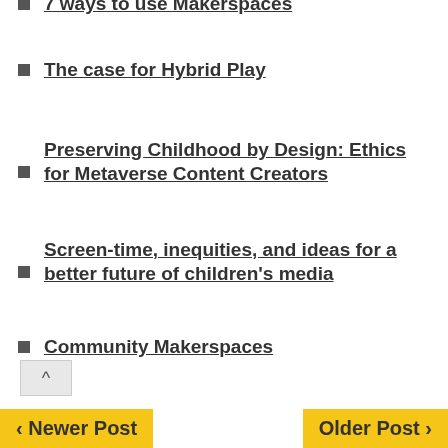7 ways to use Makerspaces
The case for Hybrid Play
Preserving Childhood by Design: Ethics for Metaverse Content Creators
Screen-time, inequities, and ideas for a better future of children's media
Community Makerspaces
‹ Newer Post    Older Post ›